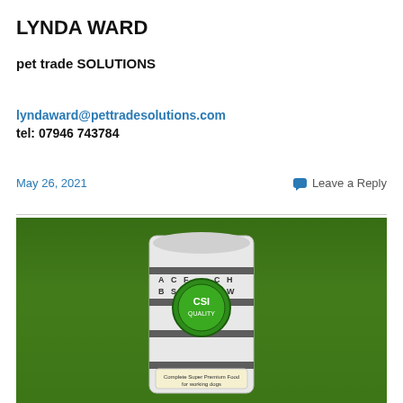LYNDA WARD
pet trade SOLUTIONS
lyndaward@pettradesolutions.com
tel: 07946 743784
May 26, 2021
Leave a Reply
[Figure (photo): A bag of pet food (Complete Super Premium Food for working dogs) placed on a green grass lawn background. The bag features a CSI branding with a green circular logo.]